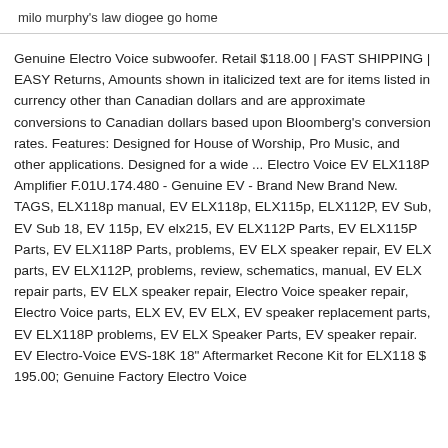milo murphy's law diogee go home
Genuine Electro Voice subwoofer. Retail $118.00 | FAST SHIPPING | EASY Returns, Amounts shown in italicized text are for items listed in currency other than Canadian dollars and are approximate conversions to Canadian dollars based upon Bloomberg's conversion rates. Features: Designed for House of Worship, Pro Music, and other applications. Designed for a wide ... Electro Voice EV ELX118P Amplifier F.01U.174.480 - Genuine EV - Brand New Brand New. TAGS, ELX118p manual, EV ELX118p, ELX115p, ELX112P, EV Sub, EV Sub 18, EV 115p, EV elx215, EV ELX112P Parts, EV ELX115P Parts, EV ELX118P Parts, problems, EV ELX speaker repair, EV ELX parts, EV ELX112P, problems, review, schematics, manual, EV ELX repair parts, EV ELX speaker repair, Electro Voice speaker repair, Electro Voice parts, ELX EV, EV ELX, EV speaker replacement parts, EV ELX118P problems, EV ELX Speaker Parts, EV speaker repair. EV Electro-Voice EVS-18K 18" Aftermarket Recone Kit for ELX118 $ 195.00; Genuine Factory Electro Voice